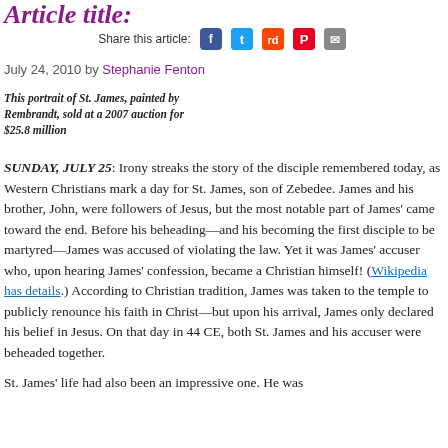Article title (partial, cropped)
Share this article:
July 24, 2010 by Stephanie Fenton
This portrait of St. James, painted by Rembrandt, sold at a 2007 auction for $25.8 million
SUNDAY, JULY 25: Irony streaks the story of the disciple remembered today, as Western Christians mark a day for St. James, son of Zebedee. James and his brother, John, were followers of Jesus, but the most notable part of James' came toward the end. Before his beheading—and his becoming the first disciple to be martyred—James was accused of violating the law. Yet it was James' accuser who, upon hearing James' confession, became a Christian himself! (Wikipedia has details.) According to Christian tradition, James was taken to the temple to publicly renounce his faith in Christ—but upon his arrival, James only declared his belief in Jesus. On that day in 44 CE, both St. James and his accuser were beheaded together.
St. James' life had also been an impressive one. He was